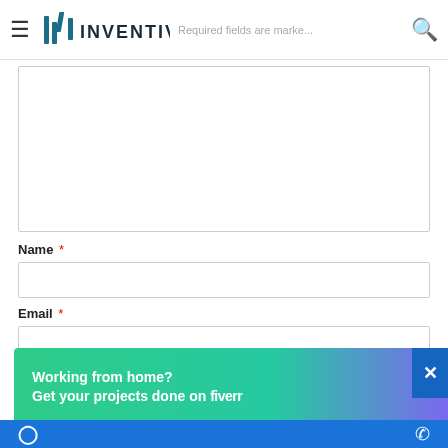Inventiva — Required fields are marked
Comment textarea (empty)
Name *
Email *
[Figure (screenshot): Working from home? Get your projects done on fiverr — advertisement banner with green-to-purple gradient, with close button (X) and blue social bar at bottom with Facebook and phone icons]